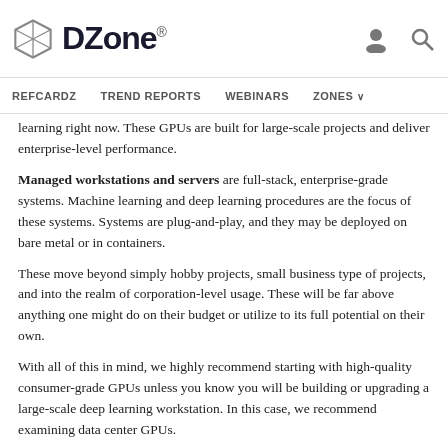DZone. REFCARDZ TREND REPORTS WEBINARS ZONES
learning right now. These GPUs are built for large-scale projects and deliver enterprise-level performance.
Managed workstations and servers are full-stack, enterprise-grade systems. Machine learning and deep learning procedures are the focus of these systems. Systems are plug-and-play, and they may be deployed on bare metal or in containers.
These move beyond simply hobby projects, small business type of projects, and into the realm of corporation-level usage. These will be far above anything one might do on their budget or utilize to its full potential on their own.
With all of this in mind, we highly recommend starting with high-quality consumer-grade GPUs unless you know you will be building or upgrading a large-scale deep learning workstation. In this case, we recommend examining data center GPUs.
Is One GPU Enough For Deep Learning?